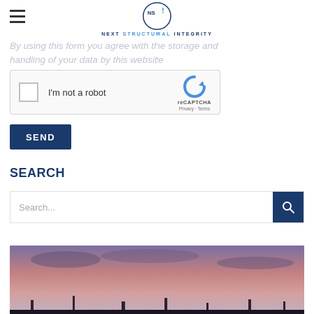NS! NEXT STRUCTURAL INTEGRITY
By using this form you agree with the storage and handling of your data by this website
[Figure (screenshot): reCAPTCHA widget with checkbox labeled I'm not a robot and reCAPTCHA branding with Privacy and Terms links]
SEND
SEARCH
[Figure (screenshot): Search input field with placeholder text Search... and a dark blue search button with magnifying glass icon]
[Figure (photo): Sunset or dusk photo showing industrial or structural silhouettes against a purple and pink sky with clouds]